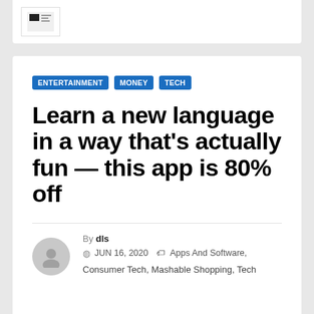[Figure (screenshot): Thumbnail image of a webpage or app screenshot in a white card at the top]
ENTERTAINMENT
MONEY
TECH
Learn a new language in a way that's actually fun — this app is 80% off
By dls
JUN 16, 2020   Apps And Software, Consumer Tech, Mashable Shopping, Tech